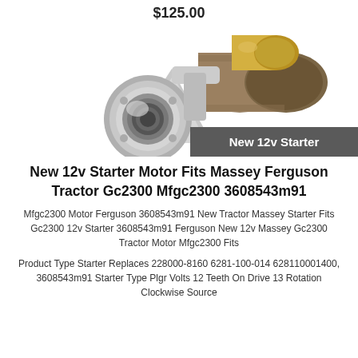$125.00
[Figure (photo): Photograph of a new 12v starter motor with silver casing and gold/brass top component, with a dark gray label bar reading 'New 12v Starter']
New 12v Starter Motor Fits Massey Ferguson Tractor Gc2300 Mfgc2300 3608543m91
Mfgc2300 Motor Ferguson 3608543m91 New Tractor Massey Starter Fits Gc2300 12v Starter 3608543m91 Ferguson New 12v Massey Gc2300 Tractor Motor Mfgc2300 Fits
Product Type Starter Replaces 228000-8160 6281-100-014 628110001400, 3608543m91 Starter Type Plgr Volts 12 Teeth On Drive 13 Rotation Clockwise Source